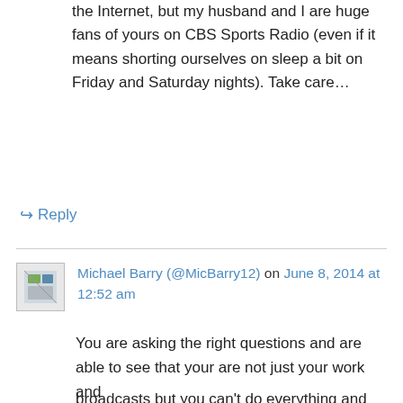the Internet, but my husband and I are huge fans of yours on CBS Sports Radio (even if it means shorting ourselves on sleep a bit on Friday and Saturday nights). Take care…
↪ Reply
Michael Barry (@MicBarry12) on June 8, 2014 at 12:52 am
You are asking the right questions and are able to see that your are not just your work and
Privacy & Cookies: This site uses cookies. By continuing to use this website, you agree to their use.
To find out more, including how to control cookies, see here: Cookie Policy
Close and accept
broadcasts but you can't do everything and be